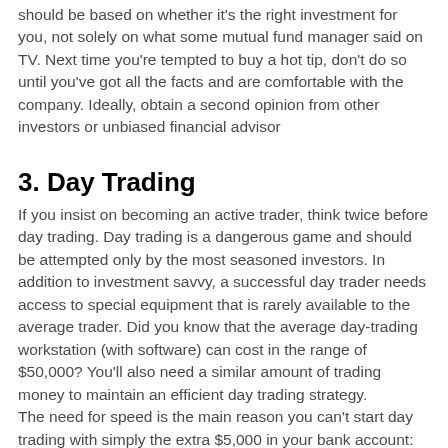should be based on whether it's the right investment for you, not solely on what some mutual fund manager said on TV. Next time you're tempted to buy a hot tip, don't do so until you've got all the facts and are comfortable with the company. Ideally, obtain a second opinion from other investors or unbiased financial advisor
3. Day Trading
If you insist on becoming an active trader, think twice before day trading. Day trading is a dangerous game and should be attempted only by the most seasoned investors. In addition to investment savvy, a successful day trader needs access to special equipment that is rarely available to the average trader. Did you know that the average day-trading workstation (with software) can cost in the range of $50,000? You'll also need a similar amount of trading money to maintain an efficient day trading strategy.
The need for speed is the main reason you can't start day trading with simply the extra $5,000 in your bank account: online brokers do not have systems fast enough to